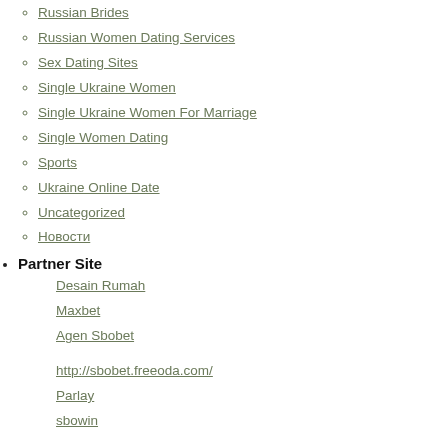Russian Brides
Russian Women Dating Services
Sex Dating Sites
Single Ukraine Women
Single Ukraine Women For Marriage
Single Women Dating
Sports
Ukraine Online Date
Uncategorized
Новости
Partner Site
Desain Rumah
Maxbet
Agen Sbobet
http://sbobet.freeoda.com/
Parlay
sbowin